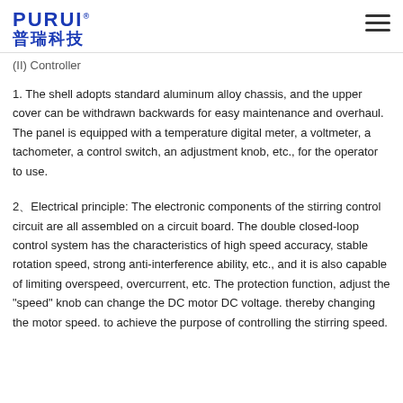PURUI® 普瑞科技
(II) Controller
1. The shell adopts standard aluminum alloy chassis, and the upper cover can be withdrawn backwards for easy maintenance and overhaul. The panel is equipped with a temperature digital meter, a voltmeter, a tachometer, a control switch, an adjustment knob, etc., for the operator to use.
2、Electrical principle: The electronic components of the stirring control circuit are all assembled on a circuit board. The double closed-loop control system has the characteristics of high speed accuracy, stable rotation speed, strong anti-interference ability, etc., and it is also capable of limiting overspeed, overcurrent, etc. The protection function, adjust the "speed" knob can change the DC motor DC voltage. thereby changing the motor speed. to achieve the purpose of controlling the stirring speed.